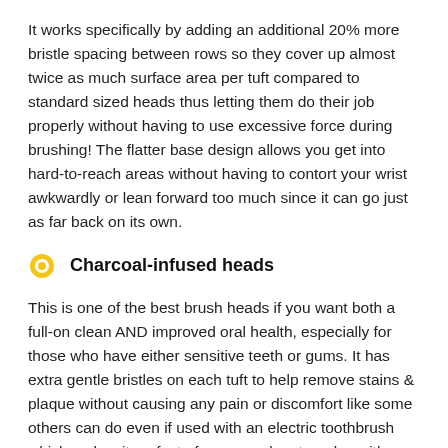It works specifically by adding an additional 20% more bristle spacing between rows so they cover up almost twice as much surface area per tuft compared to standard sized heads thus letting them do their job properly without having to use excessive force during brushing! The flatter base design allows you get into hard-to-reach areas without having to contort your wrist awkwardly or lean forward too much since it can go just as far back on its own.
Charcoal-infused heads
This is one of the best brush heads if you want both a full-on clean AND improved oral health, especially for those who have either sensitive teeth or gums. It has extra gentle bristles on each tuft to help remove stains & plaque without causing any pain or discomfort like some others can do even if used with an electric toothbrush which makes it perfect of anyone who struggles with regular brushing too.